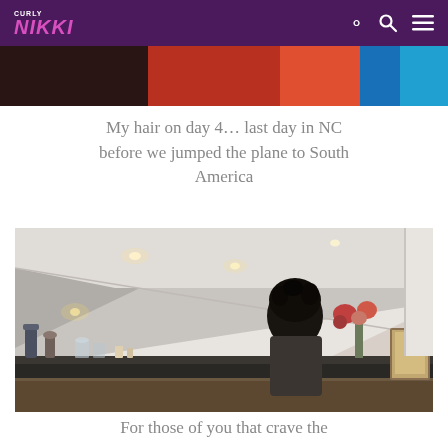Curly Nikki
[Figure (photo): Partial top image strip showing colorful background - portion of a previous photo]
My hair on day 4… last day in NC before we jumped the plane to South America
[Figure (photo): Woman with curly hair standing in a kitchen/bathroom with slanted ceiling, dark countertop, flowers in background, indoor lighting]
For those of you that crave the